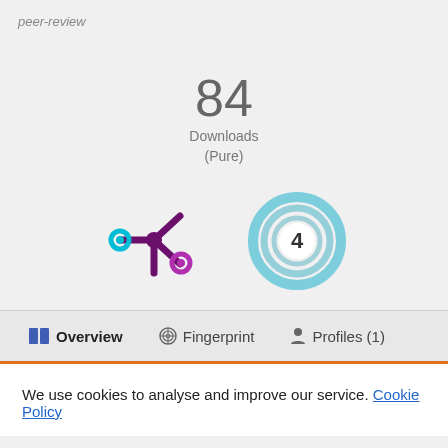peer-review
84
Downloads
(Pure)
[Figure (infographic): Two badges side by side: left is an Altmetric snowflake logo in purple with cyan and magenta circles; right is an Open Access / citation ring badge showing the number 4 in teal/blue circular rings.]
Overview   Fingerprint   Profiles (1)
We use cookies to analyse and improve our service. Cookie Policy